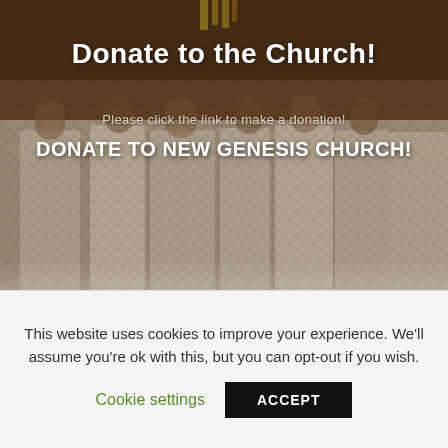[Figure (photo): Background photo of church choir members in light gray robes, with a dark mosaic/textured appearance. The image serves as a hero banner background for a church donation page.]
Donate to the Church!
Please click the link to make a donation!
DONATE TO NEW GENESIS CHURCH!
This website uses cookies to improve your experience. We'll assume you're ok with this, but you can opt-out if you wish.
Cookie settings
ACCEPT